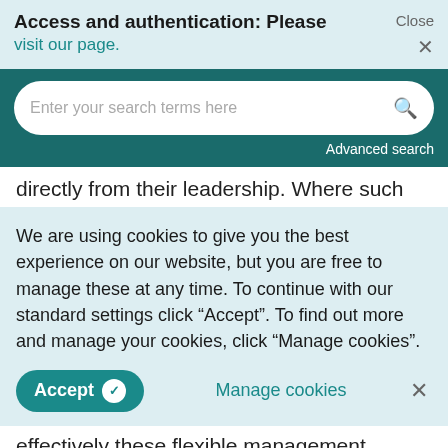Access and authentication: Please visit our page.
[Figure (screenshot): Search bar with teal background, placeholder text 'Enter your search terms here' and magnifying glass icon, with 'Advanced search' link below]
directly from their leadership. Where such
We are using cookies to give you the best experience on our website, but you are free to manage these at any time. To continue with our standard settings click "Accept". To find out more and manage your cookies, click "Manage cookies".
Accept  Manage cookies  ×
effectively these flexible management approaches but also understand the importance of CSR in